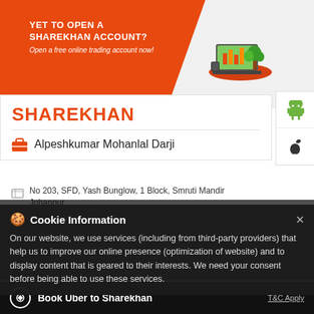[Figure (screenshot): Orange Sharekhan banner with 'YET TO OPEN A SHAREKHAN ACCOUNT? Open a free online trading account now!' and laptop/desk illustration on right]
[Figure (infographic): Android and Apple app store icons on white sidebar]
SHAREKHAN
Alpeshkumar Mohanlal Darji
No 203, SFD, Yash Bunglow, 1 Block, Smruti Mandir Johanpur
Ahmedabad - 380050
Near Rajpath Society
Cookie Information
On our website, we use services (including from third-party providers) that help us to improve our online presence (optimization of website) and to display content that is geared to their interests. We need your consent before being able to use these services.
Book Uber to Sharekhan
T&C Apply